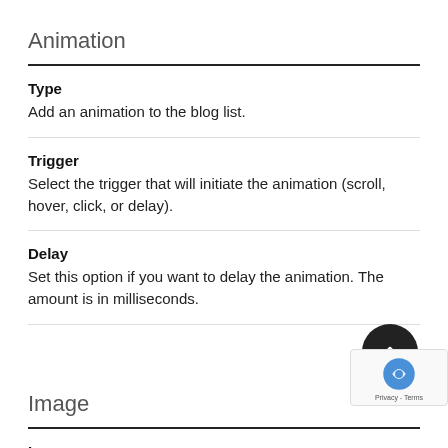Animation
Type
Add an animation to the blog list.
Trigger
Select the trigger that will initiate the animation (scroll, hover, click, or delay).
Delay
Set this option if you want to delay the animation. The amount is in milliseconds.
Image
Images
Set this to "On" if you want to show images, "Off" if you do